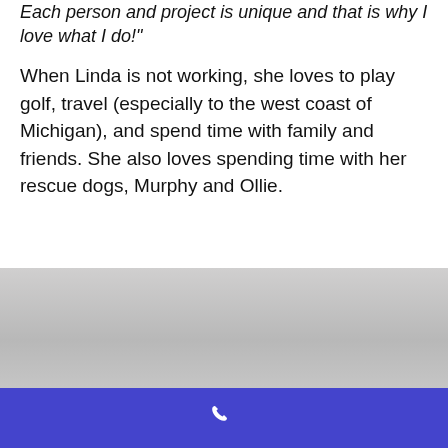Each person and project is unique and that is why I love what I do!"
When Linda is not working, she loves to play golf, travel (especially to the west coast of Michigan), and spend time with family and friends. She also loves spending time with her rescue dogs, Murphy and Ollie.
[Figure (photo): Gray gradient background section]
[Figure (other): Blue bar with white phone icon]